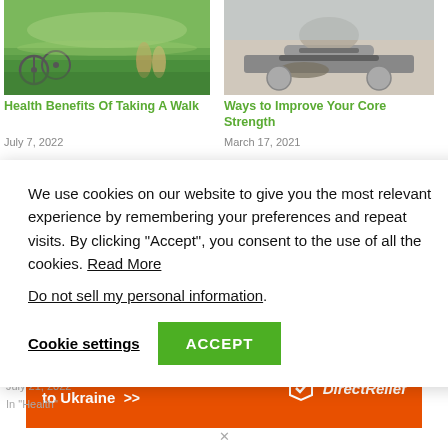[Figure (photo): Two people walking near trees by a lake with a bicycle]
Health Benefits Of Taking A Walk
July 7, 2022
[Figure (photo): Person doing core exercise with weights on a mat]
Ways to Improve Your Core Strength
March 17, 2021
We use cookies on our website to give you the most relevant experience by remembering your preferences and repeat visits. By clicking “Accept”, you consent to the use of all the cookies. Read More
Do not sell my personal information.
Cookie settings
ACCEPT
July 21, 2022
In "Health"
[Figure (infographic): Orange advertisement banner: Help send medical aid to Ukraine >> DirectRelief logo]